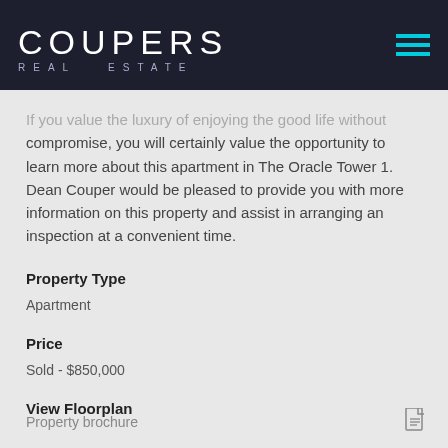COUPERS REAL ESTATE
If you value the luxury of enjoying the good life without compromise, you will certainly value the opportunity to learn more about this apartment in The Oracle Tower 1. Dean Couper would be pleased to provide you with more information on this property and assist in arranging an inspection at a convenient time.
Property Type
Apartment
Price
Sold - $850,000
View Floorplan
Property brochure